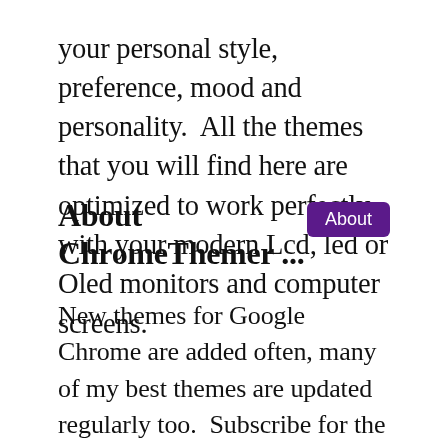your personal style, preference, mood and personality.  All the themes that you will find here are optimized to work perfectly with your modern Lcd, led or Oled monitors and computer screens.
About ChromeThemer ...
New themes for Google Chrome are added often, many of my best themes are updated regularly too.  Subscribe for the latest updates and new free google chrome theme releases and updates.  It takes some time to build really awesome theme, which is consistently noticeable in many of the theme designs that you will find here. There are quite a few good Google themes for